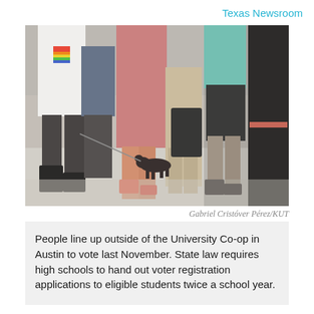Texas Newsroom
[Figure (photo): People walking on a sidewalk outside the University Co-op in Austin. Several students and people are visible from the waist or knees down. One person on the left wears a white t-shirt with a rainbow heart logo. A small black dog on a leash is visible in the middle of the scene. Some people carry backpacks.]
Gabriel Cristóver Pérez/KUT
People line up outside of the University Co-op in Austin to vote last November. State law requires high schools to hand out voter registration applications to eligible students twice a school year.